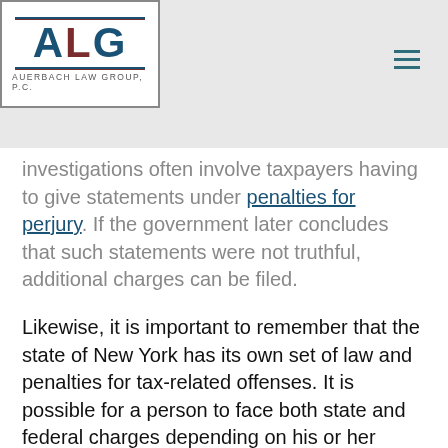ALG — AUERBACH LAW GROUP, P.C.
investigations often involve taxpayers having to give statements under penalties for perjury. If the government later concludes that such statements were not truthful, additional charges can be filed.
Likewise, it is important to remember that the state of New York has its own set of law and penalties for tax-related offenses. It is possible for a person to face both state and federal charges depending on his or her circumstances.